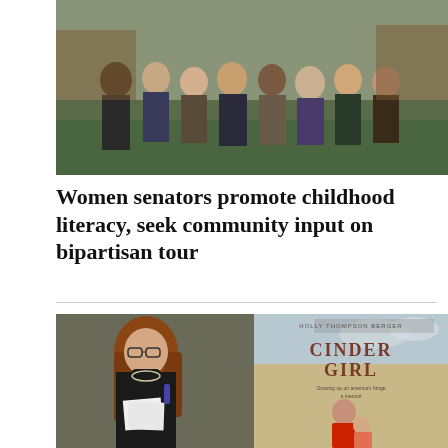[Figure (photo): Group photo of women senators standing together in an ornate room with green patterned carpet]
Women senators promote childhood literacy, seek community input on bipartisan tour
[Figure (photo): Left: A woman with long auburn hair wearing glasses and a black turtleneck holds papers and speaks at a podium. Right: Book cover of 'Cinder Girl' by Holly Thompson Berger showing a young woman in a red top holding a baby.]